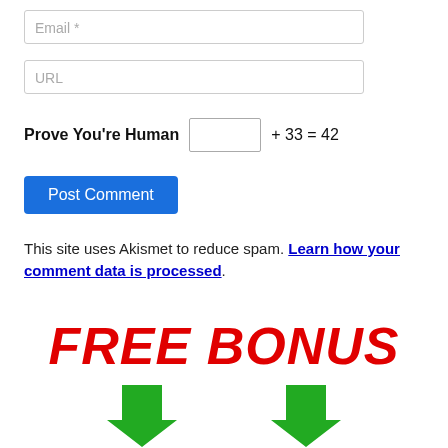Email *
URL
Prove You're Human [input] + 33 = 42
Post Comment
This site uses Akismet to reduce spam. Learn how your comment data is processed.
FREE BONUS
[Figure (illustration): Two green downward-pointing arrows side by side]